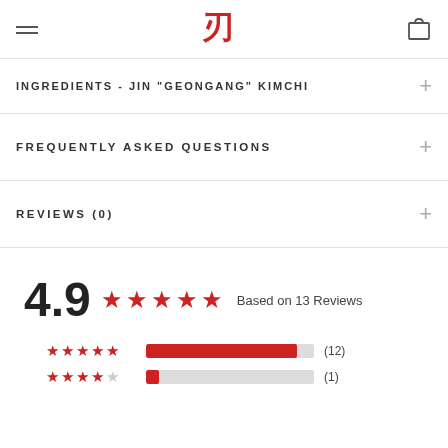Jin Kimchi logo header with hamburger menu and cart icon
INGREDIENTS - JIN "GEONGANG" KIMCHI
FREQUENTLY ASKED QUESTIONS
REVIEWS (0)
4.9 Based on 13 Reviews
5 stars: (12), 4 stars: (1)